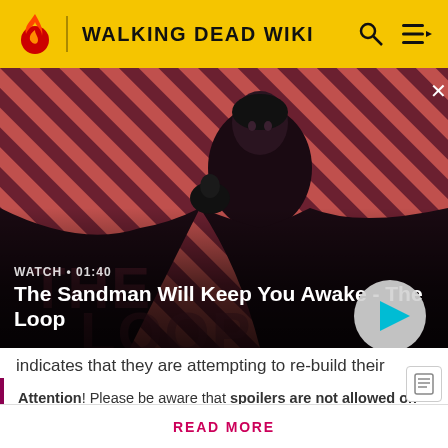WALKING DEAD WIKI
[Figure (screenshot): Hero image: a figure in black clothing with a dark bird on their shoulder, against a red and dark diagonal striped background. Text overlay at bottom shows WATCH • 01:40 and The Sandman Will Keep You Awake - The Loop with a play button.]
indicates that they are attempting to re-build their forces
Attention! Please be aware that spoilers are not allowed on the wiki and a violation of this policy may result in a ban.
READ MORE